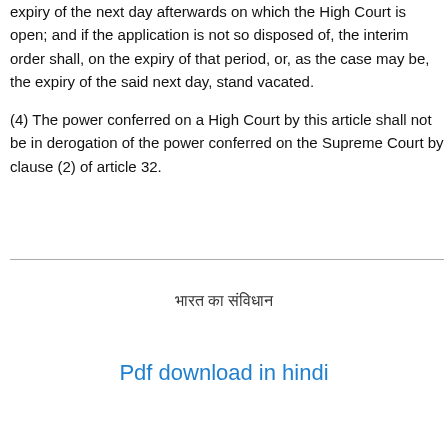expiry of the next day afterwards on which the High Court is open; and if the application is not so disposed of, the interim order shall, on the expiry of that period, or, as the case may be, the expiry of the said next day, stand vacated.
(4) The power conferred on a High Court by this article shall not be in derogation of the power conferred on the Supreme Court by clause (2) of article 32.
भारत का संविधान
Pdf download in hindi